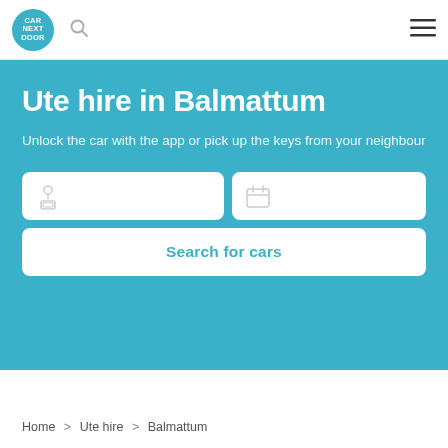CAR NEXT DOOR
Ute hire in Balmattum
Unlock the car with the app or pick up the keys from your neighbour
Search for cars
Home > Ute hire > Balmattum